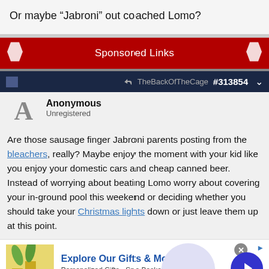Or maybe “Jabroni” out coached Lomo?
Sponsored Links
TheBackOfTheCage  #313854
Anonymous
Unregistered
Are those sausage finger Jabroni parents posting from the bleachers, really? Maybe enjoy the moment with your kid like you enjoy your domestic cars and cheap canned beer. Instead of worrying about beating Lomo worry about covering your in-ground pool this weekend or deciding whether you should take your Christmas lights down or just leave them up at this point.
Explore Our Gifts & More
Personalized Gifts - Spa Baskets - Get Sets
www.1800flowers.com